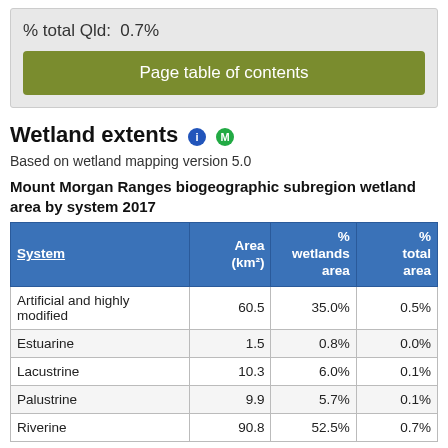% total Qld:  0.7%
Page table of contents
Wetland extents
Based on wetland mapping version 5.0
Mount Morgan Ranges biogeographic subregion wetland area by system 2017
| System | Area (km²) | % wetlands area | % total area |
| --- | --- | --- | --- |
| Artificial and highly modified | 60.5 | 35.0% | 0.5% |
| Estuarine | 1.5 | 0.8% | 0.0% |
| Lacustrine | 10.3 | 6.0% | 0.1% |
| Palustrine | 9.9 | 5.7% | 0.1% |
| Riverine | 90.8 | 52.5% | 0.7% |